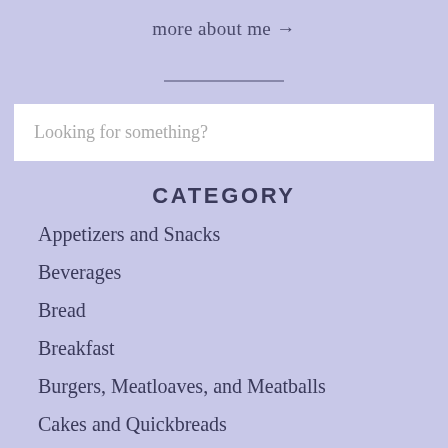more about me →
Looking for something?
CATEGORY
Appetizers and Snacks
Beverages
Bread
Breakfast
Burgers, Meatloaves, and Meatballs
Cakes and Quickbreads
Candies and Sweets